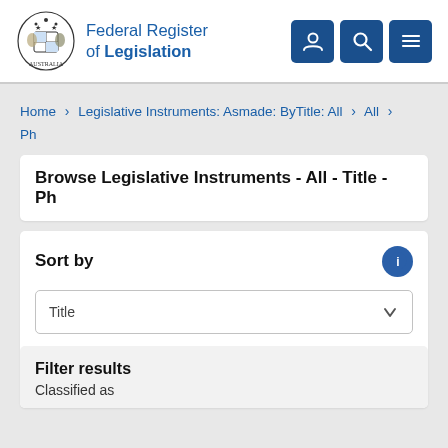Federal Register of Legislation
Home > Legislative Instruments: Asmade: ByTitle: All > All > Ph
Browse Legislative Instruments - All - Title - Ph
Sort by
Title
Filter results
Classified as